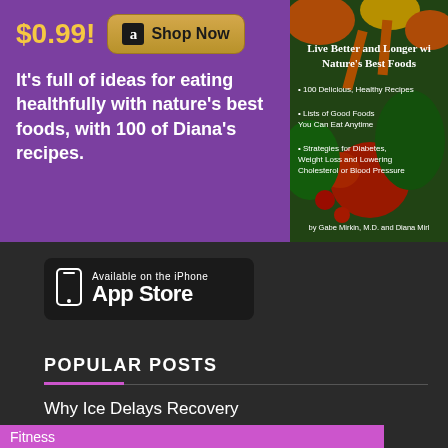[Figure (infographic): Advertisement banner with purple background showing $0.99 price, Amazon Shop Now button, text about eating healthfully with nature's best foods and 100 of Diana's recipes, alongside a book cover for 'Live Better and Longer with Nature's Best Foods' by Gabe Mirkin M.D. and Diana Mirkin]
[Figure (logo): Available on the iPhone App Store badge with phone icon]
POPULAR POSTS
Why Ice Delays Recovery
Fitness
September 16, 2015